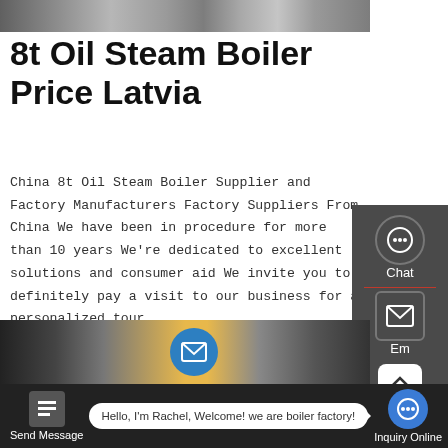[Figure (photo): Top image strip showing industrial boiler equipment]
8t Oil Steam Boiler Price Latvia
China 8t Oil Steam Boiler Supplier and Factory Manufacturers Factory Suppliers From China We have been in procedure for more than 10 years We're dedicated to excellent solutions and consumer aid We invite you to definitely pay a visit to our business for a personalized tour, ...
[Figure (screenshot): Right sidebar panel with Chat, Email, TOP navigation, and Contact icons on dark background]
[Figure (photo): Bottom image strip showing industrial boiler factory interior with yellow pipes and blue circular icon]
[Figure (screenshot): Bottom bar with Send Message icon, chat bubble saying Hello I'm Rachel Welcome we are boiler factory, and Inquiry Online button]